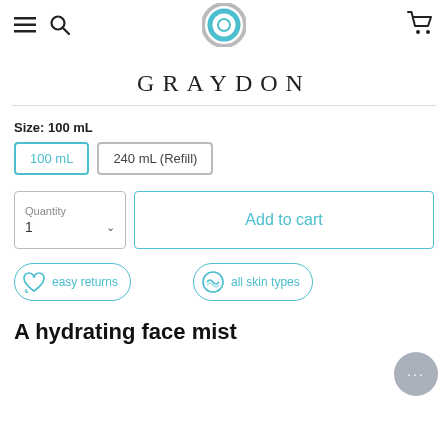GRAYDON
Size: 100 mL
100 mL | 240 mL (Refill)
Quantity 1
Add to cart
easy returns
all skin types
A hydrating face mist